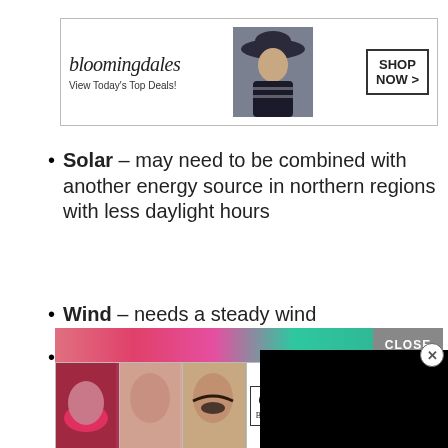[Figure (screenshot): Bloomingdale's advertisement banner: logo, 'View Today's Top Deals!', model with hat, 'SHOP NOW >' button]
Solar – may need to be combined with another energy source in northern regions with less daylight hours
Wind – needs a steady wind
Hydro – fantastic for year-round, 24 hour energy, but you do need a certain amount of flowing [water]
Methane – one of [the] alternative energy [sources,] the easiest for an[yone to produce] on their own
[Figure (screenshot): Black popup video overlay with X close button]
[Figure (screenshot): ULTA beauty advertisement banner at bottom with CLOSE button and SHOP NOW]